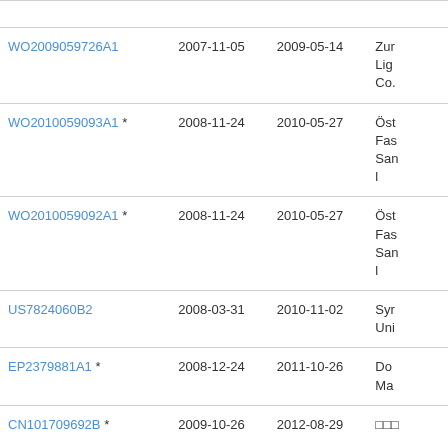| Publication | Priority Date | Publication Date | Assignee |
| --- | --- | --- | --- |
| WO2009059726A1 | 2007-11-05 | 2009-05-14 | Zur
Lig
Co. |
| WO2010059093A1 * | 2008-11-24 | 2010-05-27 | Öst
Fas
San
l |
| WO2010059092A1 * | 2008-11-24 | 2010-05-27 | Öst
Fas
San
l |
| US7824060B2 | 2008-03-31 | 2010-11-02 | Syr
Uni |
| EP2379881A1 * | 2008-12-24 | 2011-10-26 | Do
Ma |
| CN101709692B * | 2009-10-26 | 2012-08-29 | □□□ |